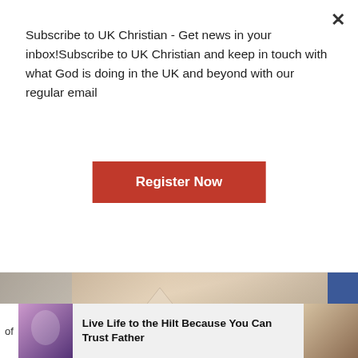Subscribe to UK Christian - Get news in your inbox!Subscribe to UK Christian and keep in touch with what God is doing in the UK and beyond with our regular email
Register Now
[Figure (photo): Dinner table setting with folded napkins and wine glasses]
Sitting Down to Dinner with Jesus
[Figure (photo): Chalk or carved text reading FAILURE with a hand reaching up]
of
[Figure (photo): Small thumbnail image, purple toned]
Live Life to the Hilt Because You Can Trust Father
[Figure (photo): Small thumbnail image, brown toned]